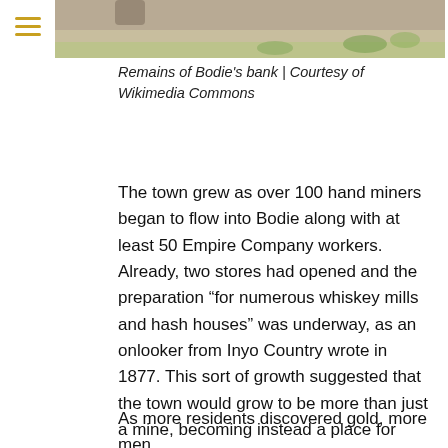[Figure (photo): Partial photograph of Bodie's bank ruins, showing desert landscape with shrubs]
Remains of Bodie's bank | Courtesy of Wikimedia Commons
The town grew as over 100 hand miners began to flow into Bodie along with at least 50 Empire Company workers. Already, two stores had opened and the preparation “for numerous whiskey mills and hash houses” was underway, as an onlooker from Inyo Country wrote in 1877. This sort of growth suggested that the town would grow to be more than just a mine, becoming instead a place for families to settle. Bodie was becoming a place for miners to make profit and for businesses as well. Stocks began to sell for one dollar a share, adding to the total profit of Bodie. 5
As more residents discovered gold, more men came into the town. By 1879, the population of